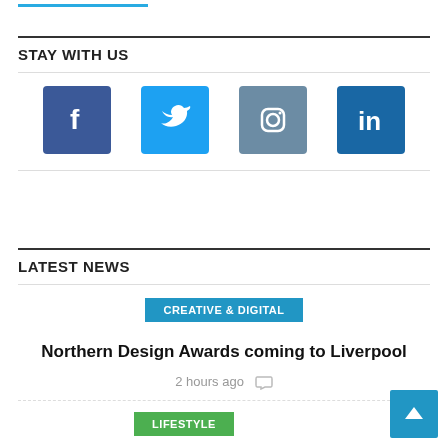STAY WITH US
[Figure (infographic): Social media icons: Facebook (blue), Twitter (light blue), Instagram (slate blue), LinkedIn (dark blue)]
LATEST NEWS
CREATIVE & DIGITAL
Northern Design Awards coming to Liverpool
2 hours ago
LIFESTYLE